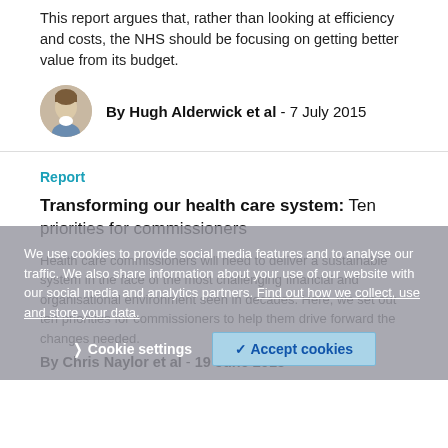This report argues that, rather than looking at efficiency and costs, the NHS should be focusing on getting better value from its budget.
By Hugh Alderwick et al - 7 July 2015
Report
Transforming our health care system: Ten priorities for commissioners
Health care commissioners will need to deliver a sustainable system in the face of the most challenging financial and organisational environment seen in decades. Here, we set out ten priorities for commissioners to help them drive forward the changes needed.
By Chris Naylor et al - 19 June 2015
We use cookies to provide social media features and to analyse our traffic. We also share information about your use of our website with our social media and analytics partners. Find out how we collect, use and store your data.